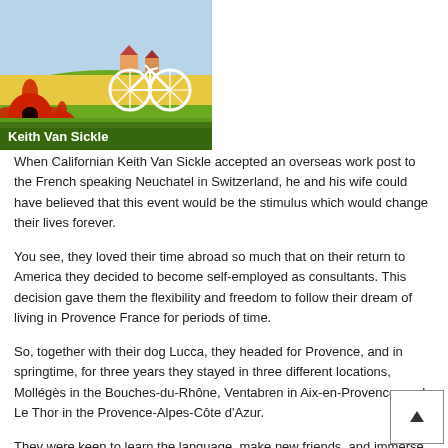[Figure (illustration): Book cover illustration showing a white bicycle, red poppies, and green grass background with author name 'Keith Van Sickle' in white text]
When Californian Keith Van Sickle accepted an overseas work post to the French speaking Neuchatel in Switzerland, he and his wife could have believed that this event would be the stimulus which would change their lives forever.
You see, they loved their time abroad so much that on their return to America they decided to become self-employed as consultants. This decision gave them the flexibility and freedom to follow their dream of living in Provence France for periods of time.
So, together with their dog Lucca, they headed for Provence, and in springtime, for three years they stayed in three different locations, Mollégès in the Bouches-du-Rhône, Ventabren in Aix-en-Provence, and Le Thor in the Provence-Alpes-Côte d'Azur.
They were keen to learn the language, make new friends, and immerse themselves in the culture and customs of this beautiful region of France.